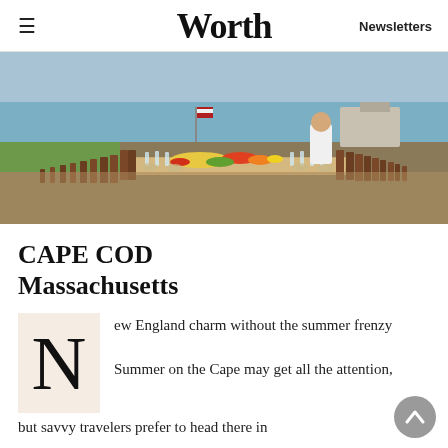Worth  Newsletters
[Figure (photo): Outdoor long dining table set for a large event with colorful flower and vegetable centerpieces, wooden chairs, glassware, and a scenic waterfront background on a sunny day. A person in white is serving at the far end.]
CAPE COD Massachusetts
New England charm without the summer frenzy
Summer on the Cape may get all the attention, but savvy travelers prefer to head there in